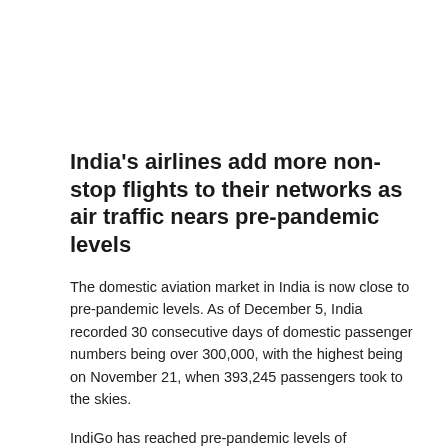India's airlines add more non-stop flights to their networks as air traffic nears pre-pandemic levels
The domestic aviation market in India is now close to pre-pandemic levels. As of December 5, India recorded 30 consecutive days of domestic passenger numbers being over 300,000, with the highest being on November 21, when 393,245 passengers took to the skies.
IndiGo has reached pre-pandemic levels of departures on the domestic segment, and that turns out to be the highest ever for the market leader. Even as the overall count of flights hovers between 85 and 90 percent of the approved schedule, the pandemic has ensured that there is more connectivity than ever before.
While keeping the flight count below pre-pandemic levels, airlines have added more non-stop flights to their networks. This has...